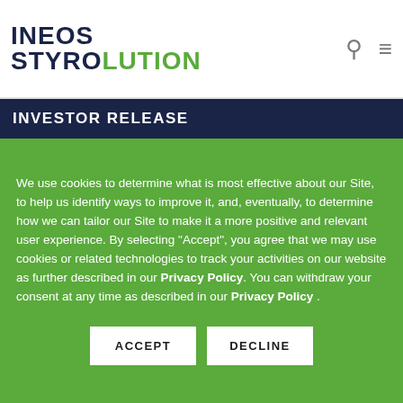INEOS STYROLUTION
INVESTOR RELEASE
We use cookies to determine what is most effective about our Site, to help us identify ways to improve it, and, eventually, to determine how we can tailor our Site to make it a more positive and relevant user experience. By selecting "Accept", you agree that we may use cookies or related technologies to track your activities on our website as further described in our Privacy Policy. You can withdraw your consent at any time as described in our Privacy Policy .